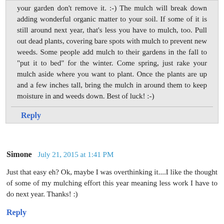your garden don't remove it. :-) The mulch will break down adding wonderful organic matter to your soil. If some of it is still around next year, that's less you have to mulch, too. Pull out dead plants, covering bare spots with mulch to prevent new weeds. Some people add mulch to their gardens in the fall to "put it to bed" for the winter. Come spring, just rake your mulch aside where you want to plant. Once the plants are up and a few inches tall, bring the mulch in around them to keep moisture in and weeds down. Best of luck! :-)
Reply
Simone  July 21, 2015 at 1:41 PM
Just that easy eh? Ok, maybe I was overthinking it....I like the thought of some of my mulching effort this year meaning less work I have to do next year. Thanks! :)
Reply